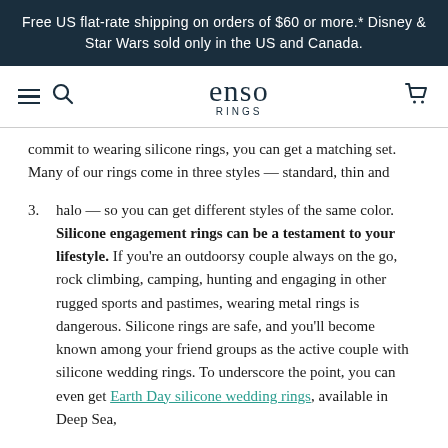Free US flat-rate shipping on orders of $60 or more.* Disney & Star Wars sold only in the US and Canada.
[Figure (logo): Enso Rings logo with hamburger menu, search icon, and cart icon in navigation bar]
commit to wearing silicone rings, you can get a matching set. Many of our rings come in three styles — standard, thin and
3. halo — so you can get different styles of the same color. Silicone engagement rings can be a testament to your lifestyle. If you're an outdoorsy couple always on the go, rock climbing, camping, hunting and engaging in other rugged sports and pastimes, wearing metal rings is dangerous. Silicone rings are safe, and you'll become known among your friend groups as the active couple with silicone wedding rings. To underscore the point, you can even get Earth Day silicone wedding rings, available in Deep Sea,